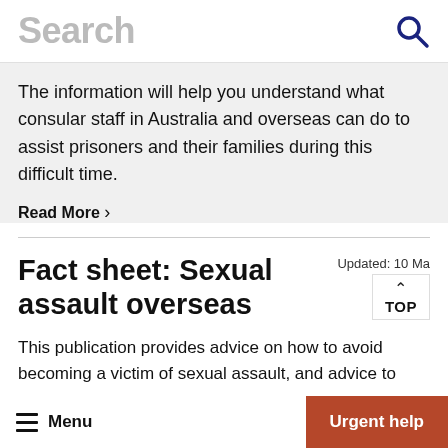Search
The information will help you understand what consular staff in Australia and overseas can do to assist prisoners and their families during this difficult time.
Read More  >
Fact sheet: Sexual assault overseas
Updated: 10 Ma
TOP
This publication provides advice on how to avoid becoming a victim of sexual assault, and advice to